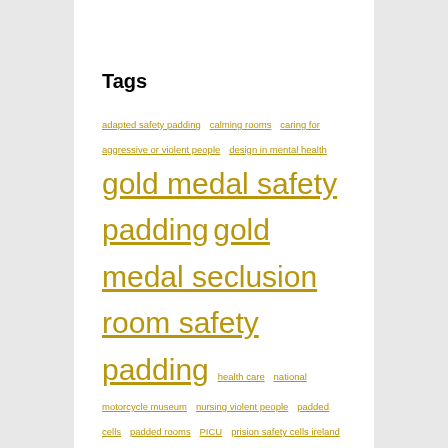Tags
adapted safety padding calming rooms caring for aggressive or violent people design in mental health gold medal safety padding gold medal seclusion room safety padding health care national motorcycle museum nursing violent people padded cells padded rooms PICU prision safety cells ireland prision seclusion room safety padding ireland Psychiatric Intensive Care Unit Psychiatric Intensive Care Ward quiet rooms Safe Wall Systems saudi arabia seclusion room seclusion room padding seclusion room padding brochure seclusion room padding information seclusion room padding standards seclusion room regulations seclusion rooms Seclusion Room